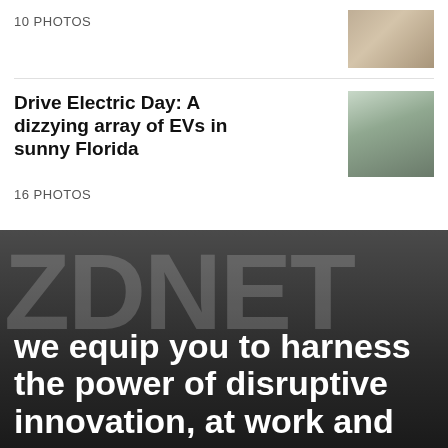10 PHOTOS
[Figure (photo): Thumbnail photo showing a laptop on a desk]
Drive Electric Day: A dizzying array of EVs in sunny Florida
[Figure (photo): Thumbnail photo showing a white electric vehicle on a street]
16 PHOTOS
[Figure (photo): ZDNET branded banner with tagline text over a dark background showing a person at a laptop. Text reads: ZDNET — we equip you to harness the power of disruptive innovation, at work and...]